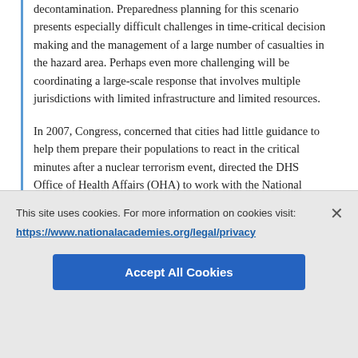decontamination. Preparedness planning for this scenario presents especially difficult challenges in time-critical decision making and the management of a large number of casualties in the hazard area. Perhaps even more challenging will be coordinating a large-scale response that involves multiple jurisdictions with limited infrastructure and limited resources.

In 2007, Congress, concerned that cities had little guidance to help them prepare their populations to react in the critical minutes after a nuclear terrorism event, directed the DHS Office of Health Affairs (OHA) to work with the National Academies Institute of Medicine, the Homeland Security Institute, the national laboratories, and state and local response organizations to address this issue (U.S. Congress, 2007). The OHA initiative is
This site uses cookies. For more information on cookies visit:
https://www.nationalacademies.org/legal/privacy
Accept All Cookies